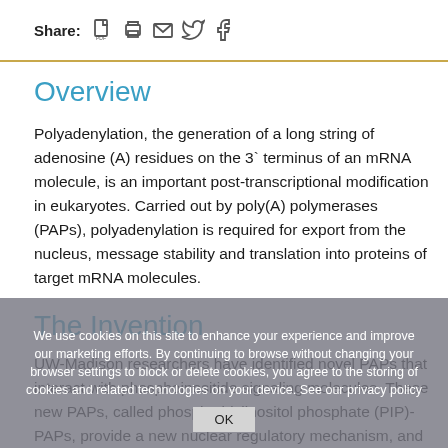Share: [pdf] [print] [email] [twitter] [facebook]
Overview
Polyadenylation, the generation of a long string of adenosine (A) residues on the 3` terminus of an mRNA molecule, is an important post-transcriptional modification in eukaryotes. Carried out by poly(A) polymerases (PAPs), polyadenylation is required for export from the nucleus, message stability and translation into proteins of target mRNA molecules.
The Invention
UW-Madison researchers have identified novel PAPs that interact with phosphoinositide signaling molecules. These new PAPs, called phosphatidylinositol phosphate (PIP)-PAPs, provide a new nuclear regulatory mechanism, and therefore a new means of controlling and regulating protein